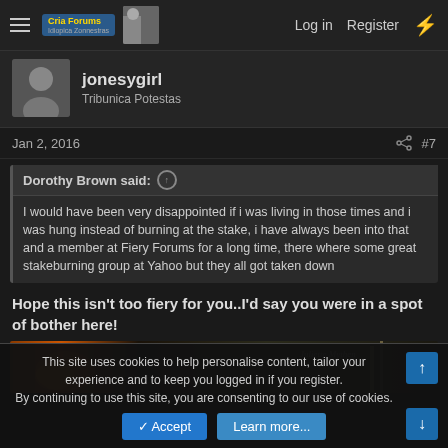Cria Forums — Log in | Register
jonesygirl
Tribunica Potestas
Jan 2, 2016  #7
Dorothy Brown said: ↑
I would have been very disappointed if i was living in those times and i was hung instead of burning at the stake, i have always been into that and a member at Fiery Forums for a long time, there where some great stakeburning group at Yahoo but they all got taken down
Hope this isn't too fiery for you..I'd say you were in a spot of bother here!
[Figure (photo): Partial image of what appears to be fire or flames on the left side with dark background, with a faint watermark text in the upper right]
This site uses cookies to help personalise content, tailor your experience and to keep you logged in if you register.
By continuing to use this site, you are consenting to our use of cookies.
✓ Accept    Learn more...